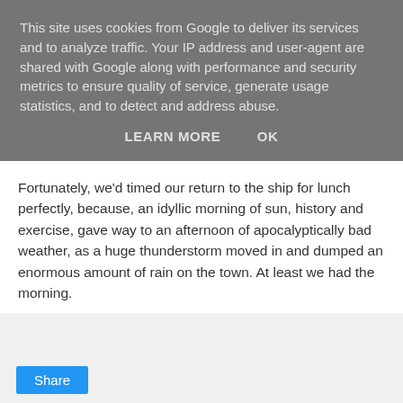This site uses cookies from Google to deliver its services and to analyze traffic. Your IP address and user-agent are shared with Google along with performance and security metrics to ensure quality of service, generate usage statistics, and to detect and address abuse.
LEARN MORE   OK
Fortunately, we'd timed our return to the ship for lunch perfectly, because, an idyllic morning of sun, history and exercise, gave way to an afternoon of apocalyptically bad weather, as a huge thunderstorm moved in and dumped an enormous amount of rain on the town. At least we had the morning.
Rhodes without the tourists (and without the rain!) is a wonderful place.
Share